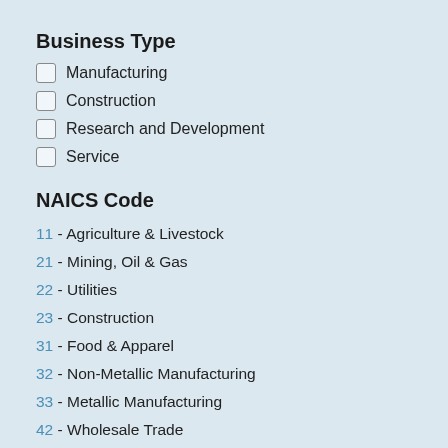Business Type
Manufacturing
Construction
Research and Development
Service
NAICS Code
11 - Agriculture & Livestock
21 - Mining, Oil & Gas
22 - Utilities
23 - Construction
31 - Food & Apparel
32 - Non-Metallic Manufacturing
33 - Metallic Manufacturing
42 - Wholesale Trade
44 - Retail Trade
45 - Retail Trade - Misc.
48 - Transportation